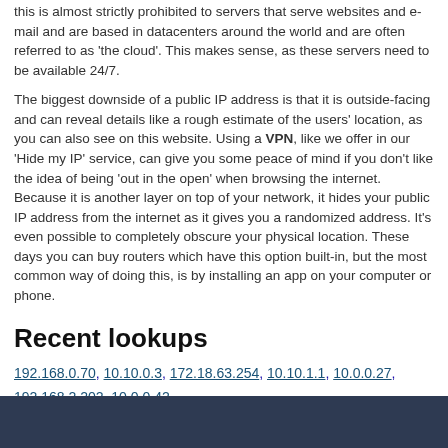this is almost strictly prohibited to servers that serve websites and e-mail and are based in datacenters around the world and are often referred to as 'the cloud'. This makes sense, as these servers need to be available 24/7.
The biggest downside of a public IP address is that it is outside-facing and can reveal details like a rough estimate of the users' location, as you can also see on this website. Using a VPN, like we offer in our 'Hide my IP' service, can give you some peace of mind if you don't like the idea of being 'out in the open' when browsing the internet. Because it is another layer on top of your network, it hides your public IP address from the internet as it gives you a randomized address. It's even possible to completely obscure your physical location. These days you can buy routers which have this option built-in, but the most common way of doing this, is by installing an app on your computer or phone.
Recent lookups
192.168.0.70, 10.10.0.3, 172.18.63.254, 10.10.1.1, 10.0.0.27, 192.168.2.202, 10.0.0.42.